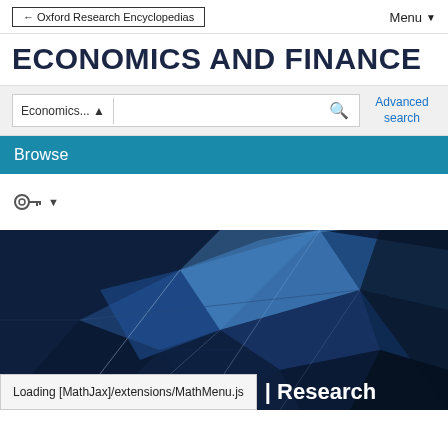← Oxford Research Encyclopedias    Menu ▼
ECONOMICS AND FINANCE
Economics... [search box] Advanced search
Browse
[Figure (screenshot): Key/login icon with dropdown arrow]
[Figure (photo): Abstract geometric blue glass building facade with polygon facets forming a modern architectural pattern in dark blue tones]
Loading [MathJax]/extensions/MathMenu.js
| Research